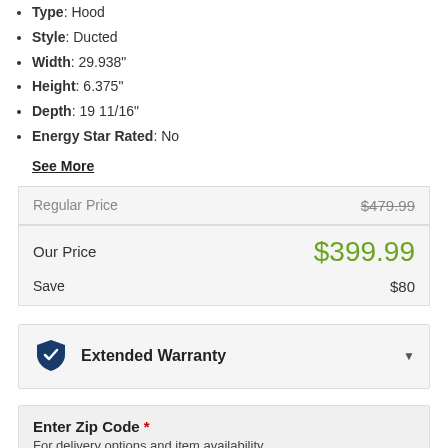Type: Hood
Style: Ducted
Width: 29.938"
Height: 6.375"
Depth: 19 11/16"
Energy Star Rated: No
See More
| Label | Value |
| --- | --- |
| Regular Price | $479.99 |
| Our Price | $399.99 |
| Save | $80 |
Extended Warranty
Enter Zip Code * For delivery options and item availability.